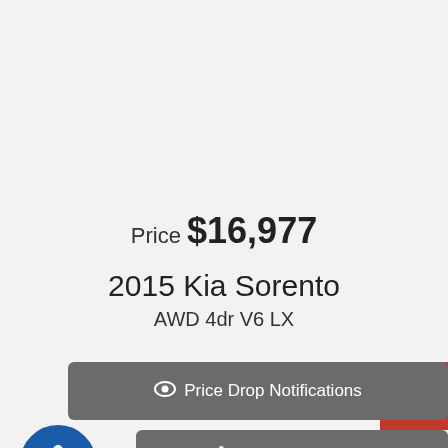Price $16,977
2015 Kia Sorento AWD 4dr V6 LX
Price Drop Notifications
253-535-6804